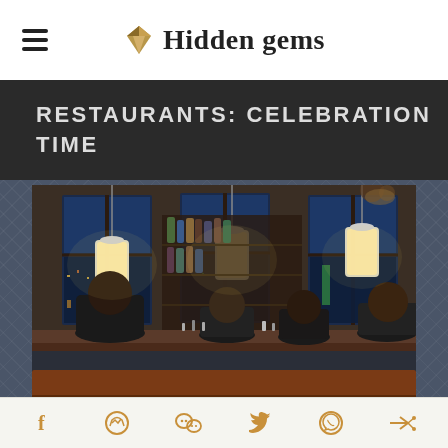Hidden gems
RESTAURANTS: CELEBRATION TIME
[Figure (photo): Interior of a restaurant bar at night, with pendant lights, large windows showing a blue evening skyline, a well-stocked bar, and patrons seated at the bar counter on wooden stools]
Social share icons: Facebook, Messenger, WeChat, Twitter, WhatsApp, Share